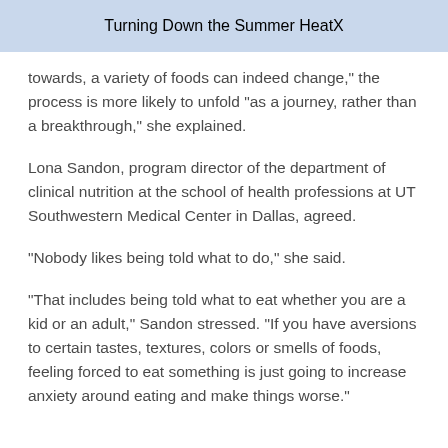Turning Down the Summer Heat
towards, a variety of foods can indeed change," the process is more likely to unfold "as a journey, rather than a breakthrough," she explained.
Lona Sandon, program director of the department of clinical nutrition at the school of health professions at UT Southwestern Medical Center in Dallas, agreed.
"Nobody likes being told what to do," she said.
"That includes being told what to eat whether you are a kid or an adult," Sandon stressed. "If you have aversions to certain tastes, textures, colors or smells of foods, feeling forced to eat something is just going to increase anxiety around eating and make things worse."